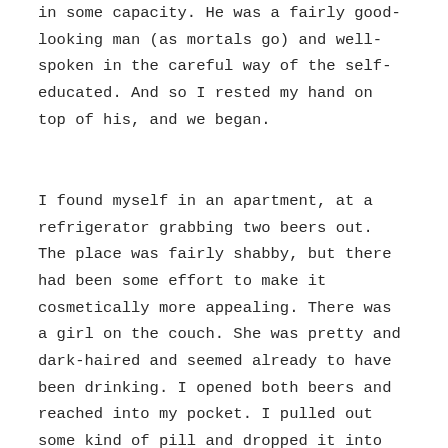in some capacity. He was a fairly good-looking man (as mortals go) and well-spoken in the careful way of the self-educated. And so I rested my hand on top of his, and we began.
I found myself in an apartment, at a refrigerator grabbing two beers out. The place was fairly shabby, but there had been some effort to make it cosmetically more appealing. There was a girl on the couch. She was pretty and dark-haired and seemed already to have been drinking. I opened both beers and reached into my pocket. I pulled out some kind of pill and dropped it into her bottle of beer and then handed her the bottle. We made small talk and listened to the radio. The girl seemed to get more and more sleepy, until she finally tipped over. I